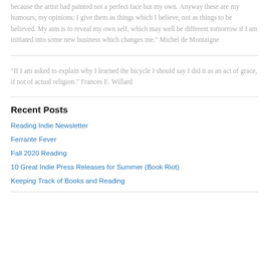because the artist had painted not a perfect face but my own. Anyway these are my humours, my opinions: I give them as things which I believe, not as things to be believed. My aim is to reveal my own self, which may well be different tomorrow if I am initiated into some new business which changes me." Michel de Montaigne
"If I am asked to explain why I learned the bicycle I should say I did it as an act of grace, if not of actual religion." Frances E. Willard
Recent Posts
Reading Indie Newsletter
Ferrante Fever
Fall 2020 Reading
10 Great Indie Press Releases for Summer (Book Riot)
Keeping Track of Books and Reading